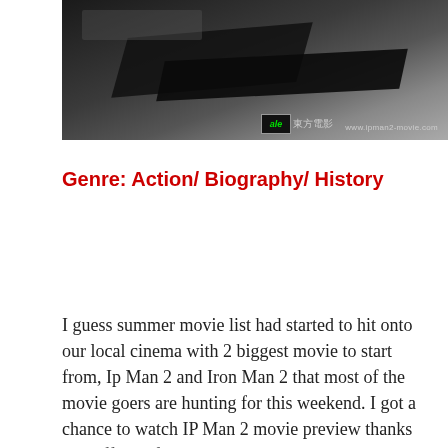[Figure (photo): Black and white photo related to Ip Man 2 movie, with website watermark www.ipman2-movie.com and a logo with Chinese characters 東方電影]
Genre: Action/ Biography/ History
I guess summer movie list had started to hit onto our local cinema with 2 biggest movie to start from, Ip Man 2 and Iron Man 2 that most of the movie goers are hunting for this weekend. I got a chance to watch IP Man 2 movie preview thanks to Nuffnang for the tickets.
If most of you had watch IP Man part 1 that had anticipated a lot of Wushu martial arts Wing Chun that fought with the Japanese. In this show, the martial art Legend fought with American style, Boxing. It also, about